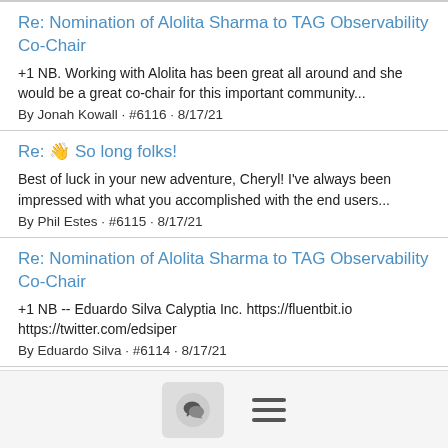Re: Nomination of Alolita Sharma to TAG Observability Co-Chair
+1 NB. Working with Alolita has been great all around and she would be a great co-chair for this important community...
By Jonah Kowall · #6116 · 8/17/21
Re: 👋 So long folks!
Best of luck in your new adventure, Cheryl! I've always been impressed with what you accomplished with the end users...
By Phil Estes · #6115 · 8/17/21
Re: Nomination of Alolita Sharma to TAG Observability Co-Chair
+1 NB -- Eduardo Silva Calyptia Inc. https://fluentbit.io https://twitter.com/edsiper
By Eduardo Silva · #6114 · 8/17/21
Re: Nomination of Alolita Sharma to TAG